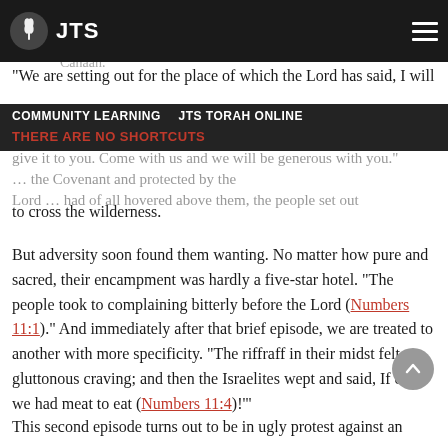JTS
COMMUNITY LEARNING  JTS TORAH ONLINE
THERE ARE NO SHORTCUTS
"We are setting out for the place of which the Lord has said, I will give it to you. Come with us and we will be generous with you." … to cross the wilderness.
But adversity soon found them wanting. No matter how pure and sacred, their encampment was hardly a five-star hotel. “The people took to complaining bitterly before the Lord (Numbers 11:1).” And immediately after that brief episode, we are treated to another with more specificity. “The riffraff in their midst felt a gluttonous craving; and then the Israelites wept and said, If only we had meat to eat (Numbers 11:4)!’”
This second episode turns out to be in ugly protest against an